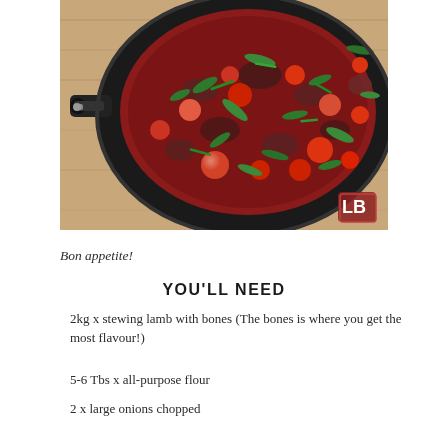[Figure (photo): A black cast iron pan filled with stewing lamb cooked with cherry tomatoes, dark red sauce, topped with fresh chopped green herbs. A metal handle is visible on the left side. A watermark logo 'LB' appears in the bottom right corner of the image.]
Bon appetite!
YOU'LL NEED
2kg x stewing lamb with bones (The bones is where you get the most flavour!)
5-6 Tbs x all-purpose flour
2 x large onions chopped